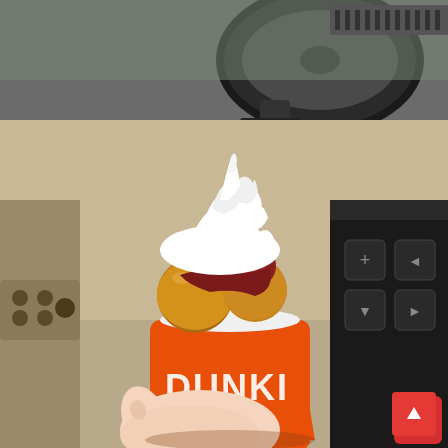[Figure (photo): A hand holding an orange Dunkin' paper cup filled with donut holes (munchkins), strips of bacon, and whipped cream piled on top. The photo is taken inside a car, with the steering wheel and center console visible in the background. A red button with an upward arrow icon is visible in the bottom-right corner of the image.]